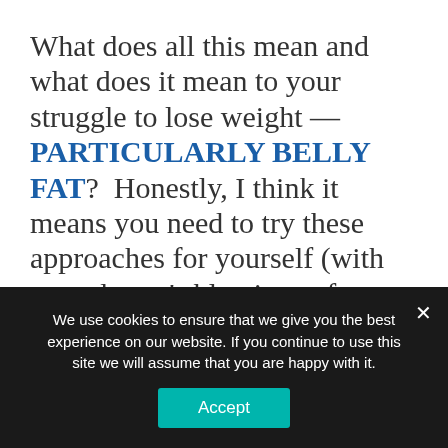What does all this mean and what does it mean to your struggle to lose weight — PARTICULARLY BELLY FAT?  Honestly, I think it means you need to try these approaches for yourself (with your doctor's blessings of course) because while safe, not everyone is going to respond the same way (be sure to look at my previous links to IF because frankly, there was a lot of rather amazing research that was ignored by these
We use cookies to ensure that we give you the best experience on our website. If you continue to use this site we will assume that you are happy with it.
Accept